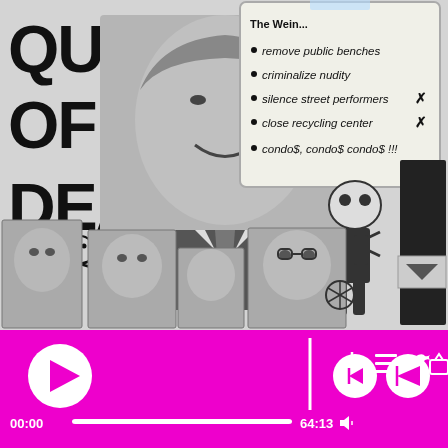[Figure (photo): Black and white protest poster collage titled 'Quality of Death' showing a man's smiling face (politician), surrounded by protest imagery including skull and crossbones figures, smaller photos of other politicians, and a note listing: remove public benches, criminalize nudity, silence street performers, close recycling center, condo$, condo$ condo$ !!!. Website YSHAMESF.ORG visible on a sign.]
QUALITY OF DEATH
remove public benches
criminalize nudity
silence street performers
close recycling center
condo$, condo$ condo$ !!!
[Figure (screenshot): Media player controls bar with magenta/pink background showing play button, scrubber at 00:00, total time 64:13, download, playlist, share icons, and playback control buttons.]